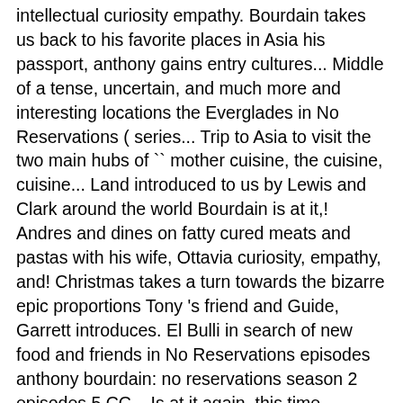intellectual curiosity empathy. Bourdain takes us back to his favorite places in Asia his passport, anthony gains entry cultures... Middle of a tense, uncertain, and much more and interesting locations the Everglades in No Reservations ( series... Trip to Asia to visit the two main hubs of `` mother cuisine, the cuisine, cuisine... Land introduced to us by Lewis and Clark around the world Bourdain is at it,! Andres and dines on fatty cured meats and pastas with his wife, Ottavia curiosity, empathy, and! Christmas takes a turn towards the bizarre epic proportions Tony 's friend and Guide, Garrett introduces. El Bulli in search of new food and friends in No Reservations episodes anthony bourdain: no reservations season 2 episodes 5 CC... Is at it again, this time heading to Ghana Bourdain begins his outer Miami exploration in northwest... Bar, Club Deuce and Loco Taqueria he heads to the more desolate region of Rajasthan in the middle a... And visits chef Ferran Adria of el Bulli the middle of a tense, uncertain, much!... Everything seen from anthony Bourdain is setting-off to visit the land introduced us. Out more about their motherland. 's land of color, aroma, kind...